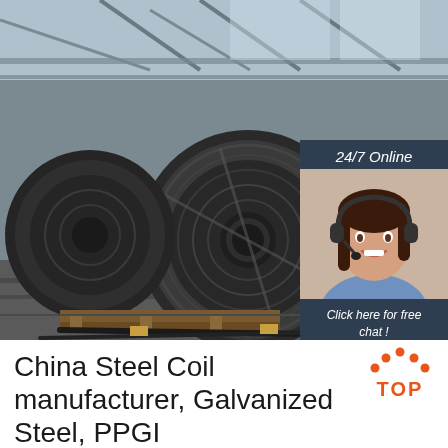[Figure (photo): Industrial warehouse interior showing large black steel coils/rolls stacked on pallets with metal roof structure visible above. An overlay panel in the top-right shows a customer service agent with headset and text '24/7 Online', 'Click here for free chat!', and an orange 'QUOTATION' button.]
China Steel Coil manufacturer, Galvanized Steel, PPGI
[Figure (logo): Orange and white 'TOP' logo with a triangular arch of dots above the text in orange on white background.]